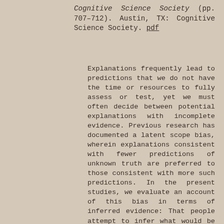Cognitive Science Society (pp. 707–712). Austin, TX: Cognitive Science Society. pdf
Explanations frequently lead to predictions that we do not have the time or resources to fully assess or test, yet we must often decide between potential explanations with incomplete evidence. Previous research has documented a latent scope bias, wherein explanations consistent with fewer predictions of unknown truth are preferred to those consistent with more such predictions. In the present studies, we evaluate an account of this bias in terms of inferred evidence: That people attempt to infer what would be observed if those predictions were tested, and then reason on the basis of this inferred evidence. We test several predictions of this